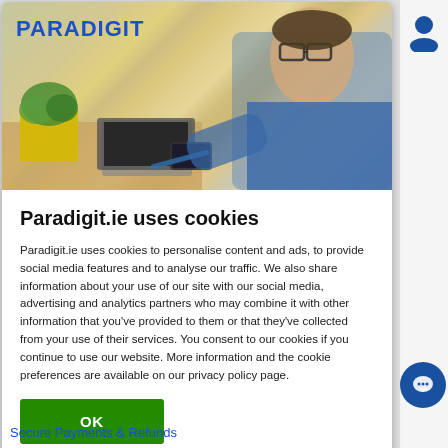[Figure (screenshot): Hero image of a man in a blue shirt working on a laptop, with a yellow potted plant and smartphone on the desk. Paradigit logo in blue text top left.]
Paradigit.ie uses cookies
Paradigit.ie uses cookies to personalise content and ads, to provide social media features and to analyse our traffic. We also share information about your use of our site with our social media, advertising and analytics partners who may combine it with other information that you've provided to them or that they've collected from your use of their services. You consent to our cookies if you continue to use our website. More information and the cookie preferences are available on our privacy policy page.
OK
Secure Payments & Refunds